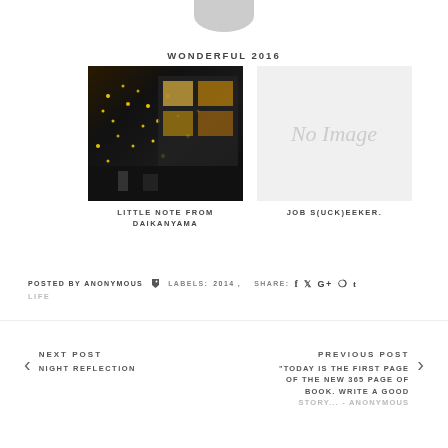[Figure (other): Partial circular grey avatar/logo cropped at top]
WONDERFUL 2016
[Figure (photo): Night photo of Daikanyama illuminated with fairy lights on trees and a glass-front building]
LITTLE NOTE FROM DAIKANYAMA
[Figure (other): No Image placeholder with grey background and italic script text 'No Image']
JOB S(UCK)EEKER.
POSTED BY ANONYMOUS  LABELS: 2014 ,  SHARE:  f  twitter  G+  pinterest  t
LIFE
NEXT POST  NIGHT REFLECTION
PREVIOUS POST  "TODAY IS THE FIRST PAGE OF THE NEW 365 PAGE OF BOOK. WRITE A GOOD STORY..." - ANONYMOUS